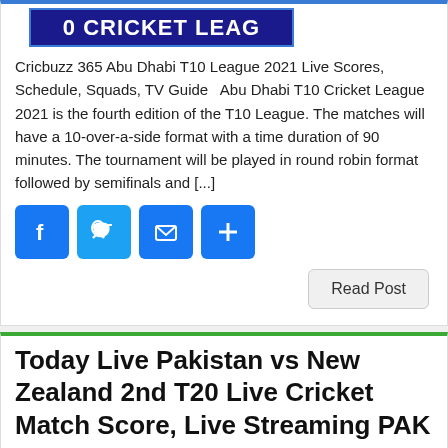[Figure (screenshot): Partial banner image showing '0 Cricket Leag' text on dark blue background with blue border]
Cricbuzz 365 Abu Dhabi T10 League 2021 Live Scores, Schedule, Squads, TV Guide   Abu Dhabi T10 Cricket League 2021 is the fourth edition of the T10 League. The matches will have a 10-over-a-side format with a time duration of 90 minutes. The tournament will be played in round robin format followed by semifinals and [...]
[Figure (infographic): Social sharing buttons: Facebook (blue), Twitter (blue), Email (blue envelope), Share/Add (blue plus)]
Read Post
Today Live Pakistan vs New Zealand 2nd T20 Live Cricket Match Score, Live Streaming PAK v NZ
admin   December 19, 2020   CricBuzz Live Score   Comments
[Figure (screenshot): Cricket match thumbnail with dark green background showing 'LIVE' red badge and '20K' view count overlay]